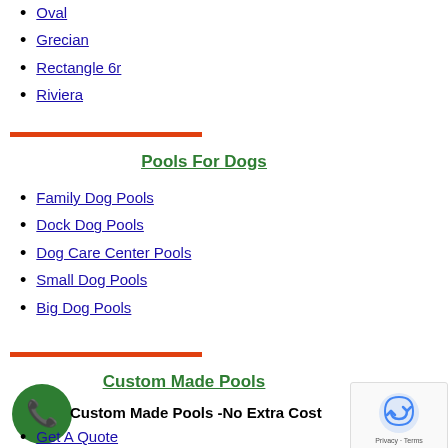Oval
Grecian
Rectangle 6r
Riviera
Pools For Dogs
Family Dog Pools
Dock Dog Pools
Dog Care Center Pools
Small Dog Pools
Big Dog Pools
Custom Made Pools
Custom Made Pools -No Extra Cost
Get A Quote